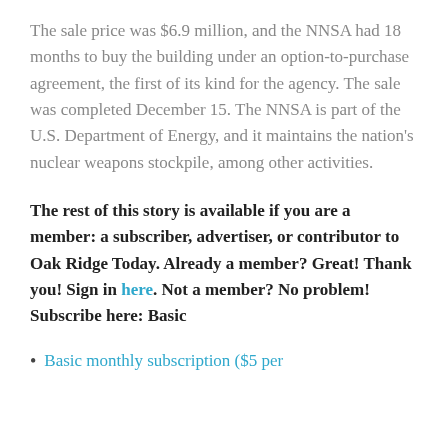The sale price was $6.9 million, and the NNSA had 18 months to buy the building under an option-to-purchase agreement, the first of its kind for the agency. The sale was completed December 15. The NNSA is part of the U.S. Department of Energy, and it maintains the nation's nuclear weapons stockpile, among other activities.
The rest of this story is available if you are a member: a subscriber, advertiser, or contributor to Oak Ridge Today. Already a member? Great! Thank you! Sign in here. Not a member? No problem! Subscribe here: Basic
Basic monthly subscription ($5 per